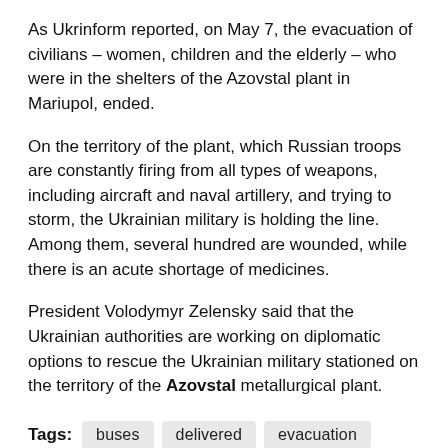As Ukrinform reported, on May 7, the evacuation of civilians – women, children and the elderly – who were in the shelters of the Azovstal plant in Mariupol, ended.
On the territory of the plant, which Russian troops are constantly firing from all types of weapons, including aircraft and naval artillery, and trying to storm, the Ukrainian military is holding the line. Among them, several hundred are wounded, while there is an acute shortage of medicines.
President Volodymyr Zelensky said that the Ukrainian authorities are working on diplomatic options to rescue the Ukrainian military stationed on the territory of the Azovstal metallurgical plant.
Tags: buses  delivered  evacuation  Mariupol  residents  Zaporozhye